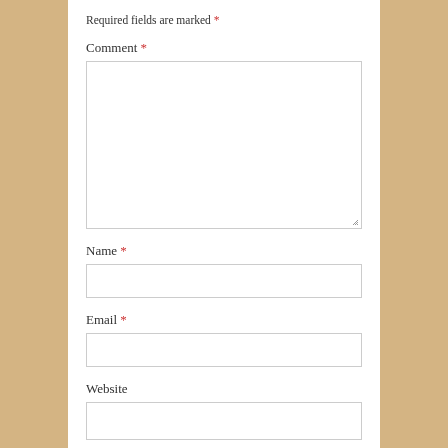Required fields are marked *
Comment *
[Figure (other): Large empty textarea input box for comment entry, with resize handle at bottom-right corner]
Name *
[Figure (other): Single-line text input box for Name field]
Email *
[Figure (other): Single-line text input box for Email field]
Website
[Figure (other): Single-line text input box for Website field]